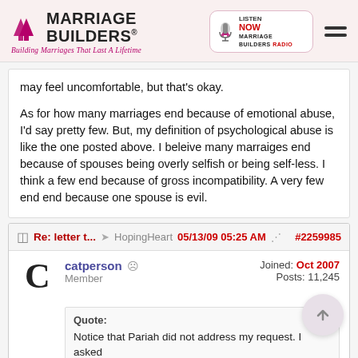Marriage Builders — Building Marriages That Last A Lifetime
may feel uncomfortable, but that's okay.

As for how many marriages end because of emotional abuse, I'd say pretty few. But, my definition of psychological abuse is like the one posted above. I beleive many marraiges end because of spouses being overly selfish or being self-less. I think a few end because of gross incompatibility. A very few end end because one spouse is evil.
Re: letter t... HopingHeart 05/13/09 05:25 AM #2259985
catperson Member Joined: Oct 2007 Posts: 11,245
Quote:
Notice that Pariah did not address my request. I asked